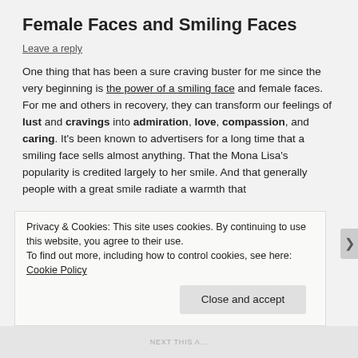Female Faces and Smiling Faces
Leave a reply
One thing that has been a sure craving buster for me since the very beginning is the power of a smiling face and female faces. For me and others in recovery, they can transform our feelings of lust and cravings into admiration, love, compassion, and caring. It’s been known to advertisers for a long time that a smiling face sells almost anything. That the Mona Lisa’s popularity is credited largely to her smile. And that generally people with a great smile radiate a warmth that
Privacy & Cookies: This site uses cookies. By continuing to use this website, you agree to their use.
To find out more, including how to control cookies, see here: Cookie Policy
Close and accept